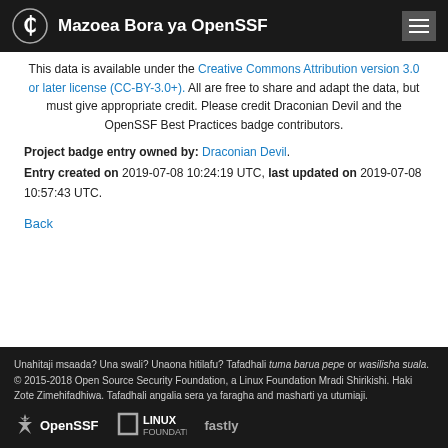Mazoea Bora ya OpenSSF
This data is available under the Creative Commons Attribution version 3.0 or later license (CC-BY-3.0+). All are free to share and adapt the data, but must give appropriate credit. Please credit Draconian Devil and the OpenSSF Best Practices badge contributors.
Project badge entry owned by: Draconian Devil. Entry created on 2019-07-08 10:24:19 UTC, last updated on 2019-07-08 10:57:43 UTC.
Back
Unahitaji msaada? Una swali? Unaona hitilafu? Tafadhali tuma barua pepe or wasilisha suala. © 2015-2018 Open Source Security Foundation, a Linux Foundation Mradi Shirikishi. Haki Zote Zimehifadhiwa. Tafadhali angalia sera ya faragha and masharti ya utumiaji.